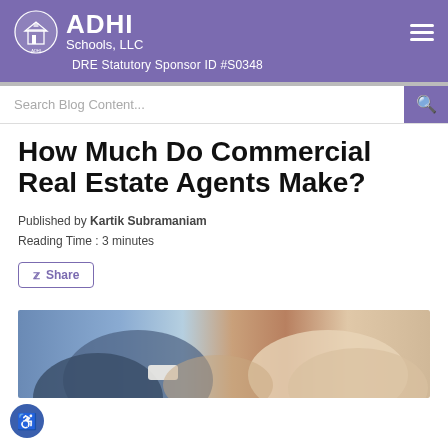[Figure (logo): ADHI Schools, LLC logo with circular emblem and white text on purple background, plus hamburger menu icon]
DRE Statutory Sponsor ID #S0348
Search Blog Content...
How Much Do Commercial Real Estate Agents Make?
Published by Kartik Subramaniam
Reading Time : 3 minutes
Share
[Figure (photo): Two people in business attire shaking hands, close-up view]